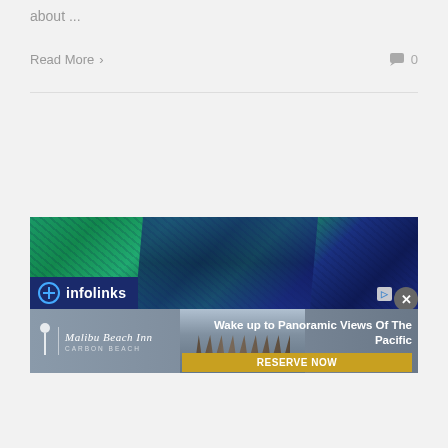about ...
Read More  >
0
[Figure (screenshot): An advertisement banner. Top section shows a satellite/aerial map image with green and dark blue colors with line patterns (infolinks branded). Bottom section is a Malibu Beach Inn ad showing hotel pier photo, script hotel name logo, text 'Wake up to Panoramic Views Of The Pacific', and a gold 'RESERVE NOW' button. A close X button and AdChoices icon are visible.]